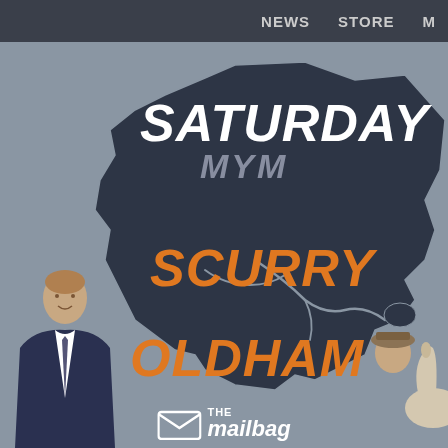NEWS   STORE   M
[Figure (illustration): Dark navy silhouette map of New South Wales, Australia, with river lines shown in grey, on a grey background. Overlaid with text: SATURDAY (white, top), MYM (grey, italic), SCURRY (orange, bold italic), OLDHAM (orange, bold italic). A man in a suit appears bottom-left and a person with a horse appears bottom-right. The Mailbag logo appears at the bottom center.]